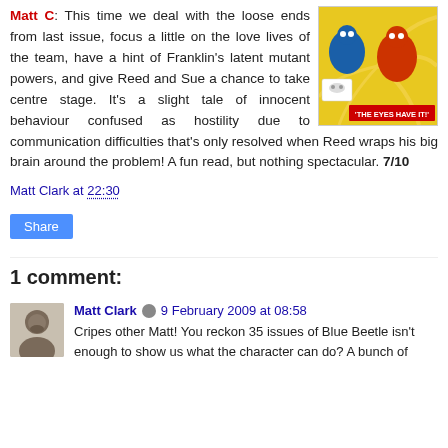Matt C: This time we deal with the loose ends from last issue, focus a little on the love lives of the team, have a hint of Franklin's latent mutant powers, and give Reed and Sue a chance to take centre stage. It's a slight tale of innocent behaviour confused as hostility due to communication difficulties that's only resolved when Reed wraps his big brain around the problem! A fun read, but nothing spectacular. 7/10
[Figure (illustration): Comic book cover showing colorful superhero characters with text 'THE EYES HAVE IT!' on a yellow swirling background]
Matt Clark at 22:30
Share
1 comment:
Matt Clark 9 February 2009 at 08:58
Cripes other Matt! You reckon 35 issues of Blue Beetle isn't enough to show us what the character can do? A bunch of